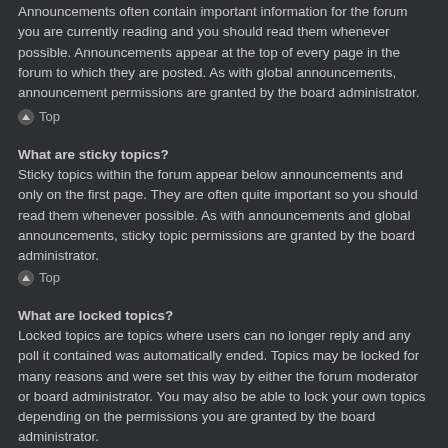Announcements often contain important information for the forum you are currently reading and you should read them whenever possible. Announcements appear at the top of every page in the forum to which they are posted. As with global announcements, announcement permissions are granted by the board administrator.
⌃ Top
What are sticky topics?
Sticky topics within the forum appear below announcements and only on the first page. They are often quite important so you should read them whenever possible. As with announcements and global announcements, sticky topic permissions are granted by the board administrator.
⌃ Top
What are locked topics?
Locked topics are topics where users can no longer reply and any poll it contained was automatically ended. Topics may be locked for many reasons and were set this way by either the forum moderator or board administrator. You may also be able to lock your own topics depending on the permissions you are granted by the board administrator.
⌃ Top